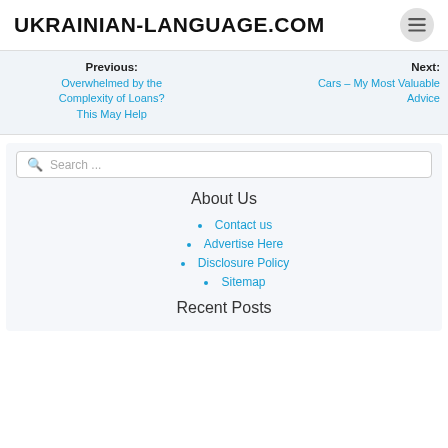UKRAINIAN-LANGUAGE.COM
Previous: Overwhelmed by the Complexity of Loans? This May Help
Next: Cars – My Most Valuable Advice
Search ...
About Us
Contact us
Advertise Here
Disclosure Policy
Sitemap
Recent Posts